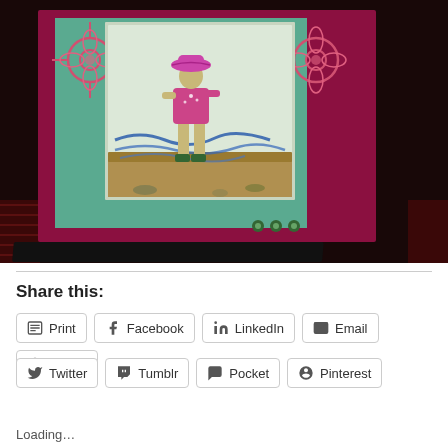[Figure (photo): Close-up photo of a handmade greeting card. The card has a dark pink/crimson background with a teal/mint mat. Inside is a white panel featuring an illustrated figure of a girl wearing a pink hat and pink outfit standing on rocks near water with blue wave lines. There are decorative flower stamps on the left and right sides of the teal mat, and three small green gem embellishments at the bottom right of the card. The card sits on a dark stand/base.]
Share this:
Print
Facebook
LinkedIn
Email
Reddit
Twitter
Tumblr
Pocket
Pinterest
Loading…